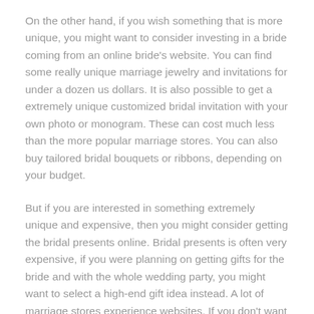On the other hand, if you wish something that is more unique, you might want to consider investing in a bride coming from an online bride's website. You can find some really unique marriage jewelry and invitations for under a dozen us dollars. It is also possible to get a extremely unique customized bridal invitation with your own photo or monogram. These can cost much less than the more popular marriage stores. You can also buy tailored bridal bouquets or ribbons, depending on your budget.
But if you are interested in something extremely unique and expensive, then you might consider getting the bridal presents online. Bridal presents is often very expensive, if you were planning on getting gifts for the bride and with the whole wedding party, you might want to select a high-end gift idea instead. A lot of marriage stores experience websites. If you don't want to leave your home, you can take a look and purchase your gifts following that. However , you may have to wait a lot of days until you receive the package, based on how